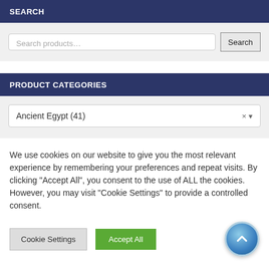SEARCH
[Figure (screenshot): Search input field with placeholder 'Search products...' and a Search button]
PRODUCT CATEGORIES
[Figure (screenshot): Dropdown selector showing 'Ancient Egypt (41)' with x and arrow controls]
We use cookies on our website to give you the most relevant experience by remembering your preferences and repeat visits. By clicking "Accept All", you consent to the use of ALL the cookies. However, you may visit "Cookie Settings" to provide a controlled consent.
[Figure (screenshot): Cookie Settings button, Accept All button, and back-to-top circular arrow button]